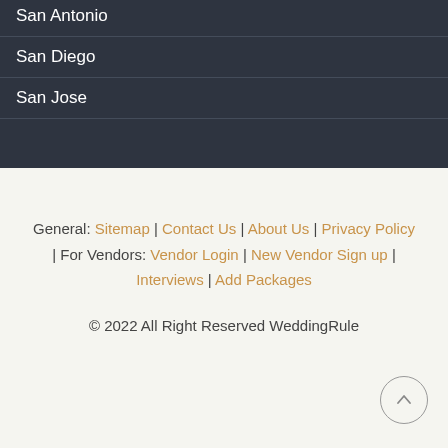San Antonio
San Diego
San Jose
General: Sitemap | Contact Us | About Us | Privacy Policy | For Vendors: Vendor Login | New Vendor Sign up | Interviews | Add Packages
© 2022 All Right Reserved WeddingRule